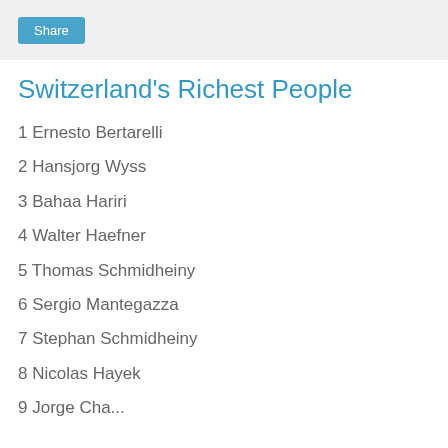Share
Switzerland's Richest People
1 Ernesto Bertarelli
2 Hansjorg Wyss
3 Bahaa Hariri
4 Walter Haefner
5 Thomas Schmidheiny
6 Sergio Mantegazza
7 Stephan Schmidheiny
8 Nicolas Hayek
9 Jorge Paulo Leman